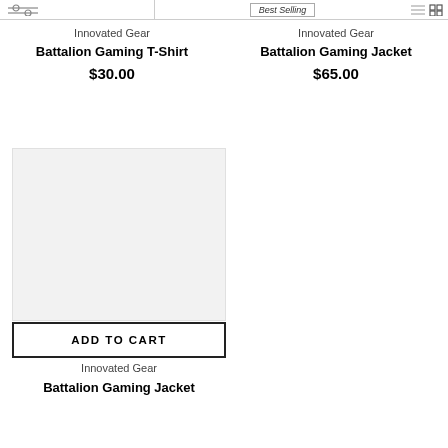Best Selling
Innovated Gear
Battalion Gaming T-Shirt
$30.00
Innovated Gear
Battalion Gaming Jacket
$65.00
[Figure (other): Product image placeholder for Battalion Gaming Jacket, light gray background]
ADD TO CART
Innovated Gear
Battalion Gaming Jacket